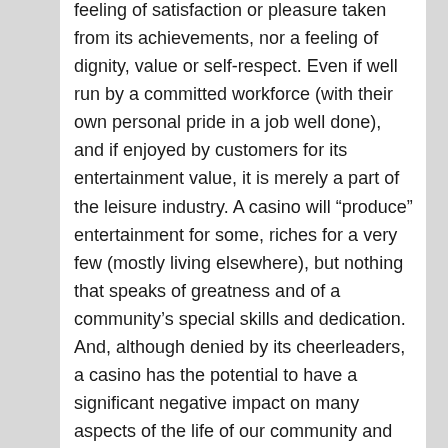feeling of satisfaction or pleasure taken from its achievements, nor a feeling of dignity, value or self-respect. Even if well run by a committed workforce (with their own personal pride in a job well done), and if enjoyed by customers for its entertainment value, it is merely a part of the leisure industry. A casino will “produce” entertainment for some, riches for a very few (mostly living elsewhere), but nothing that speaks of greatness and of a community’s special skills and dedication. And, although denied by its cheerleaders, a casino has the potential to have a significant negative impact on many aspects of the life of our community and its families.
I am proud of Schenectady’s connection to ALCO (and to GE), but I will never be proud of our City’s connection to the Gaming Industry, or to Rush Street Gaming. Honoring our past with a name like American Locomotive Drive — or simply the powerful “Locomotive Drive” — would be an important reminder to our residents and visitors of our proud and productive past, and of our faith in a future